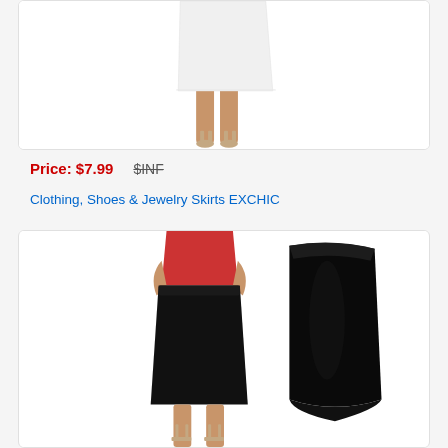[Figure (photo): Product photo of a white pencil skirt worn by a model with strappy heels, showing lower body from waist down]
Price: $7.99   $INF
Clothing, Shoes & Jewelry Skirts EXCHIC
[Figure (photo): Product photo of a black faux leather pencil skirt shown both on a model wearing a red top and as a standalone flat-lay image]